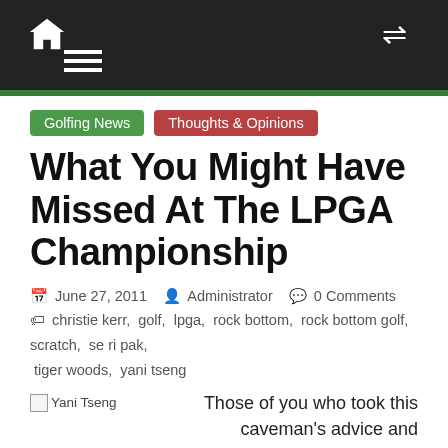Home | Menu | Shuffle
Golfing News
Thoughts & Opinions
What You Might Have Missed At The LPGA Championship
June 27, 2011 | Administrator | 0 Comments | christie kerr, golf, lpga, rock bottom, rock bottom golf, scratch, se ri pak, tiger woods, yani tseng
[Figure (photo): Broken image placeholder labeled 'Yani Tseng']
Those of you who took this caveman's advice and watched the LPGA Championship this weekend, know that there was a great showing! For the second year in a row, a blowout winner took the title